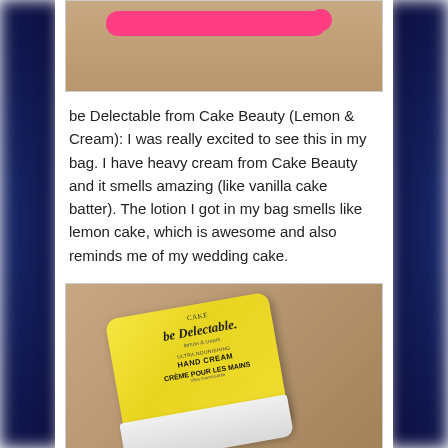[Figure (photo): Cropped top portion of a photo showing a pink hair styling tool or accessory on a wooden surface]
be Delectable from Cake Beauty (Lemon & Cream): I was really excited to see this in my bag. I have heavy cream from Cake Beauty and it smells amazing (like vanilla cake batter). The lotion I got in my bag smells like lemon cake, which is awesome and also reminds me of my wedding cake.
[Figure (photo): Photo of a yellow tube of 'be Delectable' hand cream from Cake Beauty, lemon & cream scent, labeled 'ultra nourishing HAND CREAM / CRÈME POUR LES MAINS', on a wooden surface]